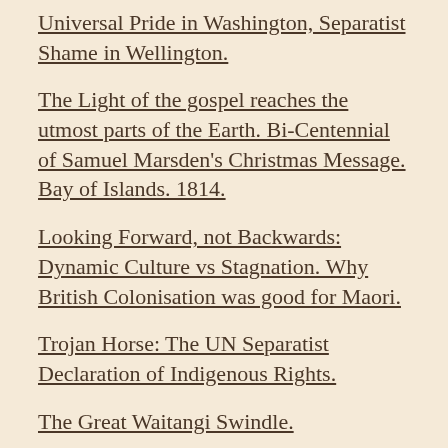Universal Pride in Washington, Separatist Shame in Wellington.
The Light of the gospel reaches the utmost parts of the Earth. Bi-Centennial of Samuel Marsden's Christmas Message. Bay of Islands. 1814.
Looking Forward, not Backwards: Dynamic Culture vs Stagnation. Why British Colonisation was good for Maori.
Trojan Horse: The UN Separatist Declaration of Indigenous Rights.
The Great Waitangi Swindle.
My speech for the 1Law4all party 2014 AGM. Tim Wikiriwhi. 17 June. Hamilton